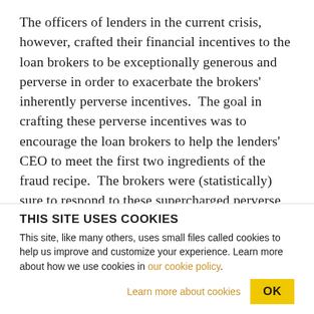The officers of lenders in the current crisis, however, crafted their financial incentives to the loan brokers to be exceptionally generous and perverse in order to exacerbate the brokers' inherently perverse incentives. The goal in crafting these perverse incentives was to encourage the loan brokers to help the lenders' CEO to meet the first two ingredients of the fraud recipe. The brokers were (statistically) sure to respond to these supercharged perverse incentives by becoming the leading generator of the two great epidemics of loan origination fraud – liar's loans and
THIS SITE USES COOKIES
This site, like many others, uses small files called cookies to help us improve and customize your experience. Learn more about how we use cookies in our cookie policy.
Learn more about cookies
OK